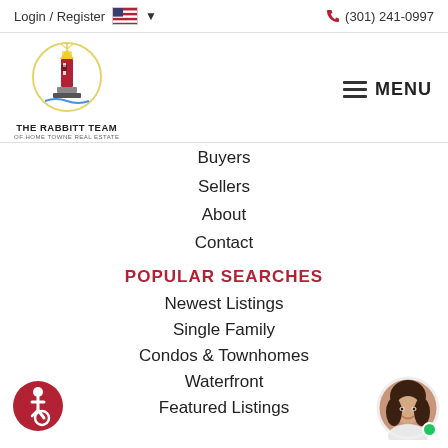Login / Register  🇺🇸 ▾   📞 (301) 241-0997
[Figure (logo): The Rabbitt Team of Home Towne Real Estate lighthouse logo]
≡ MENU
Buyers
Sellers
About
Contact
POPULAR SEARCHES
Newest Listings
Single Family
Condos & Townhomes
Waterfront
Featured Listings
[Figure (illustration): Accessibility icon — wheelchair symbol in red circle]
[Figure (photo): Agent headshot photo — woman with dark hair, circular crop, green online dot]